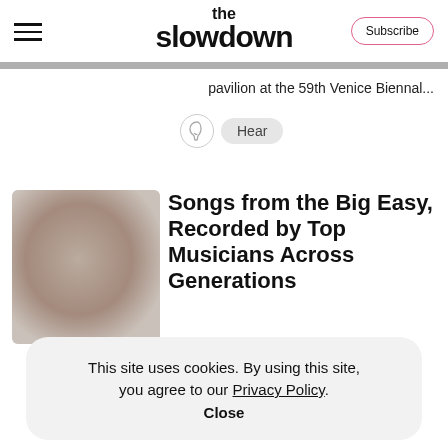the slowdown | Subscribe
pavilion at the 59th Venice Biennal...
Hear
Songs from the Big Easy, Recorded by Top Musicians Across Generations
“We created rock and roll. We
This site uses cookies. By using this site, you agree to our Privacy Policy.
Close